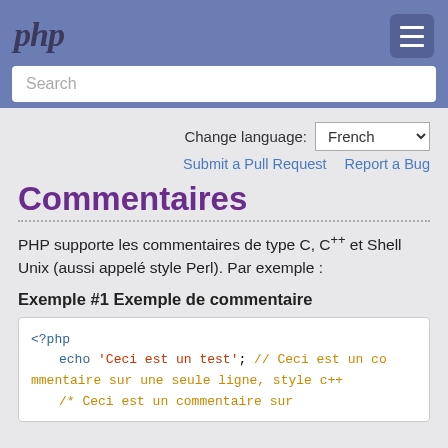php [menu icon]
Search
Change language: French
Submit a Pull Request   Report a Bug
Commentaires
PHP supporte les commentaires de type C, C++ et Shell Unix (aussi appelé style Perl). Par exemple :
Exemple #1 Exemple de commentaire
<?php
    echo 'Ceci est un test'; // Ceci est un commentaire sur une seule ligne, style c++
    /* Ceci est un commentaire sur